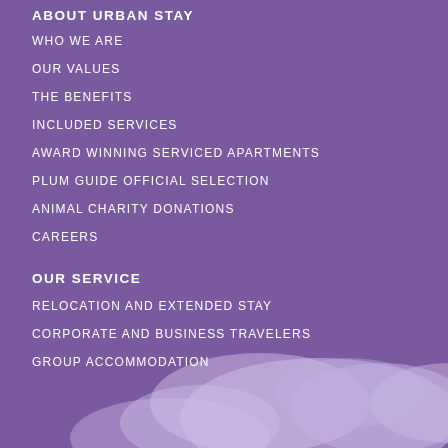ABOUT URBAN STAY
WHO WE ARE
OUR VALUES
THE BENEFITS
INCLUDED SERVICES
AWARD WINNING SERVICED APARTMENTS
PLUM GUIDE OFFICIAL SELECTION
ANIMAL CHARITY DONATIONS
CAREERS
OUR SERVICE
RELOCATION AND EXTENDED STAY
CORPORATE AND BUSINESS TRAVELERS
GROUP ACCOMMODATION